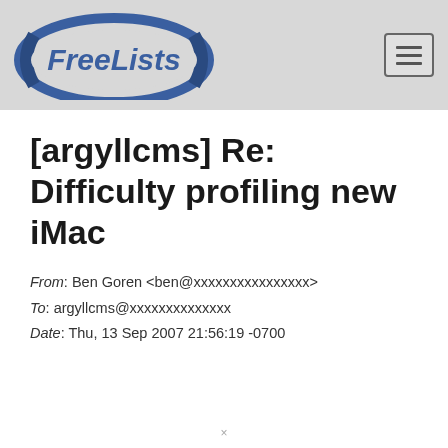[Figure (logo): FreeLists logo with blue oval and bold italic text 'FreeLists']
[argyllcms] Re: Difficulty profiling new iMac
From: Ben Goren <ben@xxxxxxxxxxxxxxxx>
To: argyllcms@xxxxxxxxxxxxxx
Date: Thu, 13 Sep 2007 21:56:19 -0700